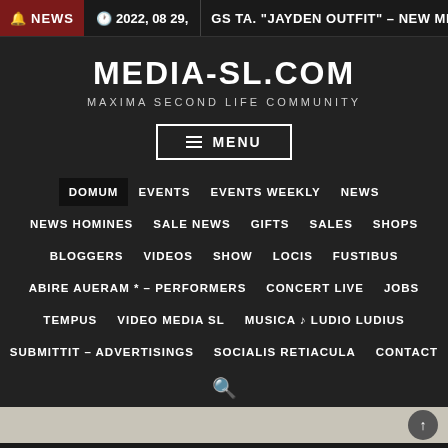NEWS  2022, 08 29,  GS TA. "JAYDEN OUTFIT" – NEW MEN
MEDIA-SL.COM
MAXIMA SECOND LIFE COMMUNITY
≡ MENU
DOMUM
EVENTS
EVENTS WEEKLY
NEWS
NEWS HOMINES
SALE NEWS
GIFTS
SALES
SHOPS
BLOGGERS
VIDEOS
SHOW
LOCIS
FUSTIBUS
ABIRE AUERAM * – PERFORMERS
CONCERT LIVE
JOBS
TEMPUS
VIDEO MEDIA SL
MUSICA ♪ LUDIO LUDIUS
SUBMITTIT – ADVERTISINGS
SOCIALIS RETIACULA
CONTACT